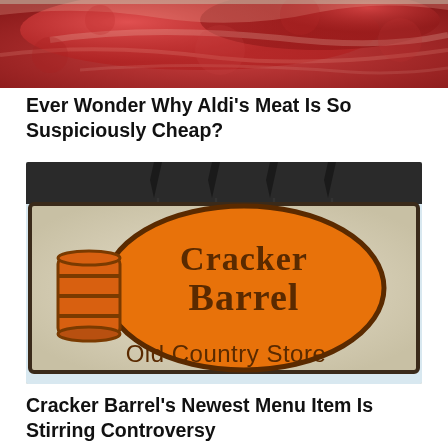[Figure (photo): Close-up photo of raw red meat with textured surface, cropped at top of page]
Ever Wonder Why Aldi's Meat Is So Suspiciously Cheap?
[Figure (photo): Cracker Barrel Old Country Store sign — orange oval logo with 'Cracker Barrel' text and barrel illustration, 'Old Country Store' text below, mounted on dark frame with black finials against light sky]
Cracker Barrel's Newest Menu Item Is Stirring Controversy